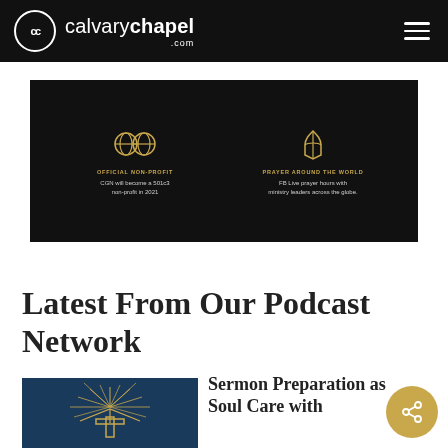calvarychapel.com
[Figure (screenshot): Dark-background promo panel for CGN showing two gold icon blocks: 'Official Non-Profit – CGN will become a 501c3 non-profit in 2021' and 'Prayer Around the World – FB Live prayer hours with ministry leaders across the globe.']
Latest From Our Podcast Network
[Figure (illustration): Dark navy square thumbnail showing a golden open Bible with radiating light rays and a cross, for the Sermon Preparation as Soul Care podcast episode]
Sermon Preparation as Soul Care with